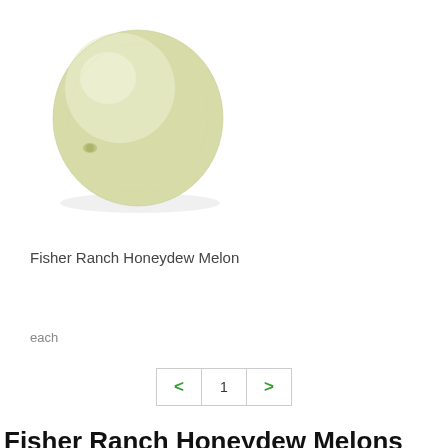[Figure (photo): A whole honeydew melon with pale green-yellow smooth skin, photographed on a white background]
Fisher Ranch Honeydew Melon
each
< 1 >
Fisher Ranch Honeydew Melons Near Me
Buy your favorite Fisher Ranch Honeydew Melons online